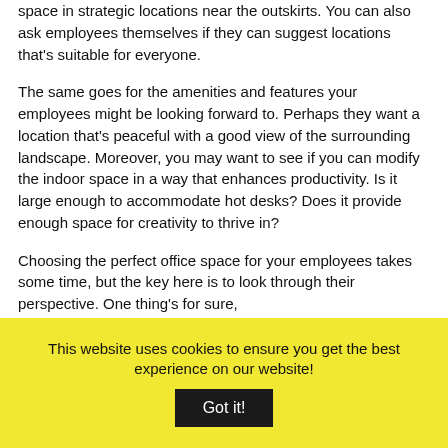space in strategic locations near the outskirts. You can also ask employees themselves if they can suggest locations that's suitable for everyone.
The same goes for the amenities and features your employees might be looking forward to. Perhaps they want a location that's peaceful with a good view of the surrounding landscape. Moreover, you may want to see if you can modify the indoor space in a way that enhances productivity. Is it large enough to accommodate hot desks? Does it provide enough space for creativity to thrive in?
Choosing the perfect office space for your employees takes some time, but the key here is to look through their perspective. One thing's for sure,
This website uses cookies to ensure you get the best experience on our website!
Got it!